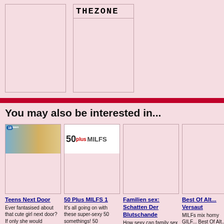[Figure (other): Top section with two product image placeholders on pink background. Left box is empty placeholder, right box shows 'THEZONE' logo text at top.]
You may also be interested in...
[Figure (photo): Teens Next Door product image - shows young women on blue/yellow background with badge]
Teens Next Door
Ever fantasised about that cute girl next door? If only she would
£29.99
[Figure (photo): 50 Plus MILFS 1 product image with logo]
50 Plus MILFS 1
It's all going on with these super-sexy 50 somethings! 50
£29.99
[Figure (photo): Familien sex: Schatten Der Blutschande product image placeholder]
Familien sex: Schatten Der Blutschande
How sexy can family sex be?
£29.99
[Figure (photo): Best Of Alt... product image placeholder (partially visible)]
Best Of Alt... Versaut
MILFs mix horny GILF... Best Of Alt...
£29.99